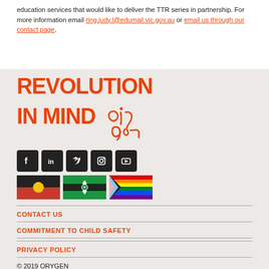education services that would like to deliver the TTR series in partnership. For more information email ring.judy.l@edumail.vic.gov.au or email us through our contact page.
[Figure (logo): Revolution In Mind Orygen logo in orange bold uppercase text with handwritten orygen script]
[Figure (infographic): Social media icons: Facebook, LinkedIn, Twitter, Instagram, YouTube in dark square buttons; Aboriginal flag, Torres Strait Islander flag, rainbow pride flag]
CONTACT US
COMMITMENT TO CHILD SAFETY
PRIVACY POLICY
© 2019 ORYGEN
Orygen acknowledges the Traditional Owners of the lands we are on and pays respect to their Elders past and present. Orygen recognises and respects their cultural heritage, beliefs and relationships to Country, which continue to be important to the First Nations people living today.